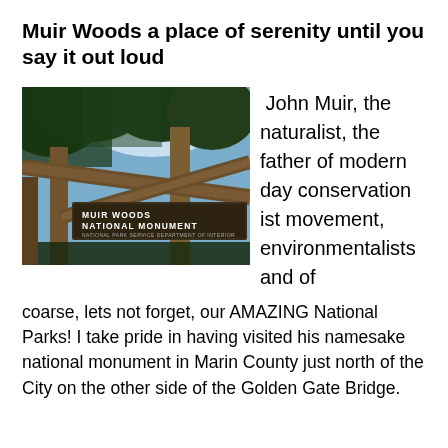Muir Woods a place of serenity until you say it out loud
[Figure (photo): Photo of the Muir Woods National Monument entrance sign made of wood logs, with trees and sky in the background. A sign reads 'MUIR WOODS NATIONAL MONUMENT / NATIONAL PARK SERVICE DEPARTMENT OF INTERIOR'.]
John Muir, the naturalist, the father of modern day conservationist movement, environmentalists and of coarse, lets not forget, our AMAZING National Parks!  I take pride in having visited his namesake national monument in Marin County  just north of the City on the other side of the Golden Gate Bridge.